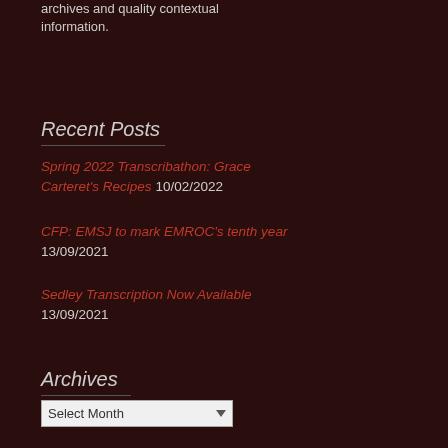archives and quality contextual information.
Recent Posts
Spring 2022 Transcribathon: Grace Carteret's Recipes 10/02/2022
CFP: EMSJ to mark EMROC's tenth year 13/09/2021
Sedley Transcription Now Available 13/09/2021
Archives
Select Month